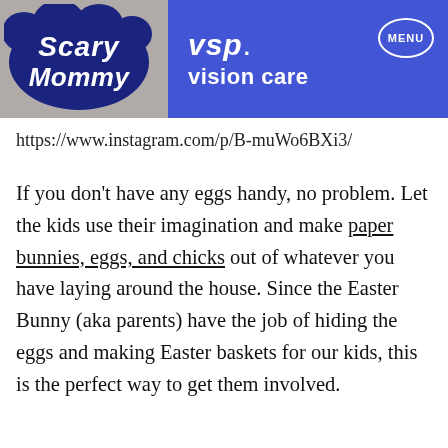[Figure (screenshot): Scary Mommy website header with logo on the left and a VSP Vision Care advertisement banner in blue on the right, with a MENU button, and a partial photo of someone in jeans in the background]
https://www.instagram.com/p/B-muWo6BXi3/
If you don’t have any eggs handy, no problem. Let the kids use their imagination and make paper bunnies, eggs, and chicks out of whatever you have laying around the house. Since the Easter Bunny (aka parents) have the job of hiding the eggs and making Easter baskets for our kids, this is the perfect way to get them involved.